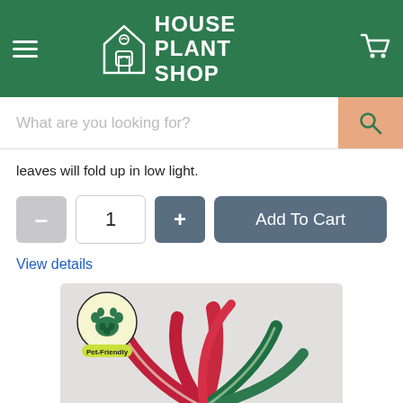[Figure (logo): House Plant Shop logo with house/plant icon on green header background, hamburger menu on left, cart icon on right]
What are you looking for?
leaves will fold up in low light.
1
Add To Cart
View details
[Figure (photo): Houseplant with red and green striped leaves with a Pet-Friendly circular badge overlaid on the top-left of the product image]